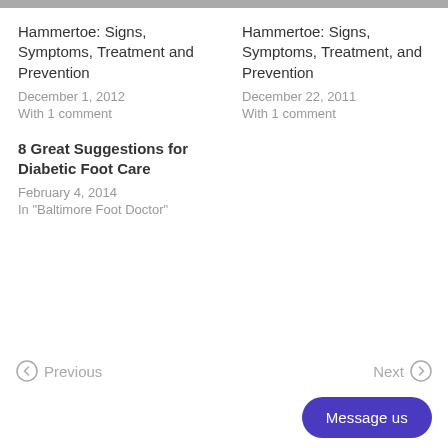Hammertoe: Signs, Symptoms, Treatment and Prevention
December 1, 2012
With 1 comment
Hammertoe: Signs, Symptoms, Treatment, and Prevention
December 22, 2011
With 1 comment
8 Great Suggestions for Diabetic Foot Care
February 4, 2014
In "Baltimore Foot Doctor"
Previous   Next
Message us